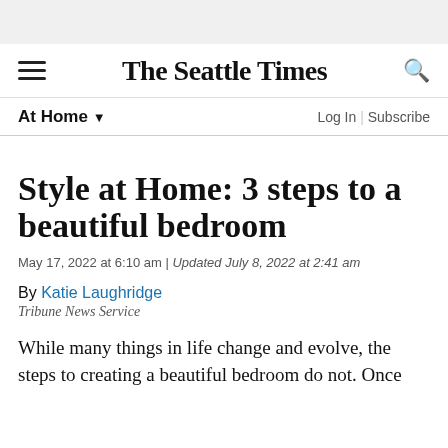The Seattle Times
At Home ▼
Style at Home: 3 steps to a beautiful bedroom
May 17, 2022 at 6:10 am | Updated July 8, 2022 at 2:41 am
By Katie Laughridge
Tribune News Service
While many things in life change and evolve, the steps to creating a beautiful bedroom do not. Once